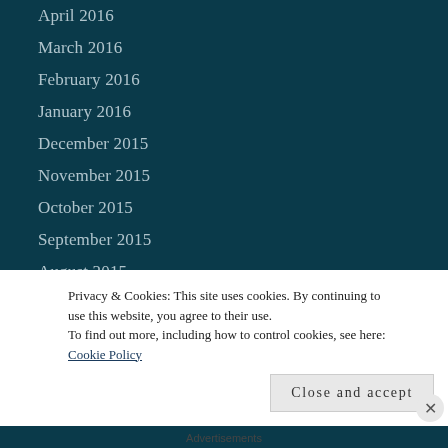April 2016
March 2016
February 2016
January 2016
December 2015
November 2015
October 2015
September 2015
August 2015
July 2015
June 2015
May 2015
April 2015
Privacy & Cookies: This site uses cookies. By continuing to use this website, you agree to their use.
To find out more, including how to control cookies, see here: Cookie Policy
Close and accept
Advertisements